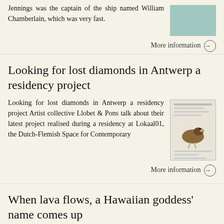Jennings was the captain of the ship named William Chamberlain, which was very fast.
More information →
Looking for lost diamonds in Antwerp a residency project
Looking for lost diamonds in Antwerp a residency project Artist collective Llobet & Pons talk about their latest project realised during a residency at Lokaal01, the Dutch-Flemish Space for Contemporary
[Figure (photo): Thumbnail image related to the Llobet & Pons residency project — appears to show a document page with a bird/duck illustration]
More information →
When lava flows, a Hawaiian goddess' name comes up
When lava flows, a Hawaiian goddess' name comes up By Associated Press, adapted by